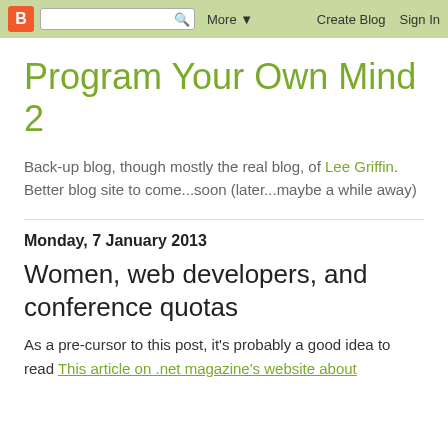B [search] More ▼   Create Blog   Sign In
Program Your Own Mind 2
Back-up blog, though mostly the real blog, of Lee Griffin. Better blog site to come...soon (later...maybe a while away)
Monday, 7 January 2013
Women, web developers, and conference quotas
As a pre-cursor to this post, it's probably a good idea to read This article on .net magazine's website about